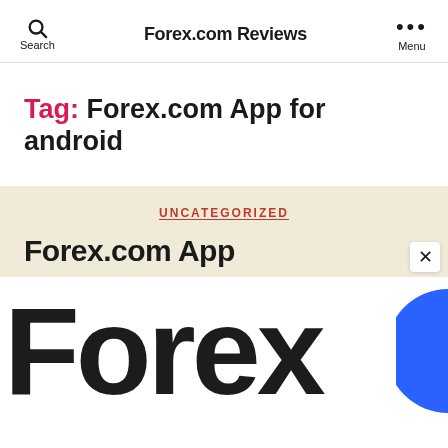Forex.com Reviews
Tag: Forex.com App for android
UNCATEGORIZED
Forex.com App
[Figure (logo): Forex.com logo text in large bold black font, partially cropped, with a blue circle element on the right edge]